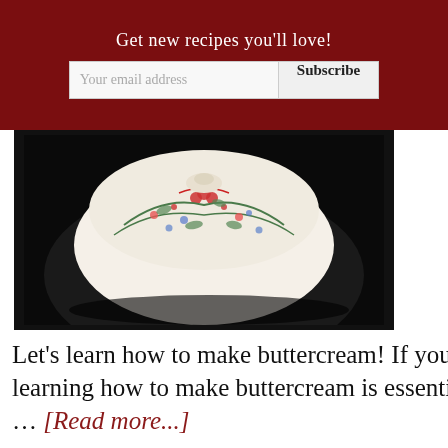Get new recipes you'll love!
[Figure (photo): Dark background photo showing a decorative floral-patterned white ceramic bowl or dish with colorful flower designs]
Let's learn how to make buttercream! If you're a person who loves to bake, learning how to make buttercream is essential. This quick and easy buttercream … [Read more...]
[Figure (infographic): DON'T TEXT AND [car emoji] advertisement banner with NHTSA logo and ad indicator]
[Figure (other): WHAT'S NEXT arrow Rockfish Recipe (Bak...) promotional panel]